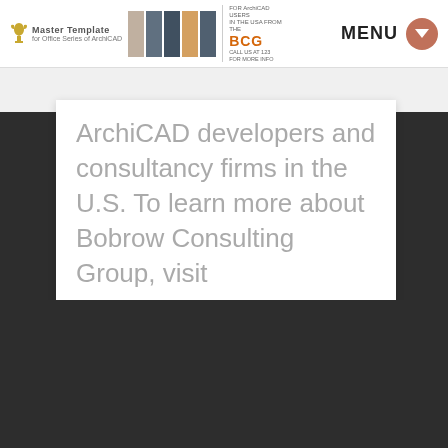Master Template | BCG | MENU
ArchiCAD developers and consultancy firms in the U.S. To learn more about Bobrow Consulting Group, visit www.bobrow.com